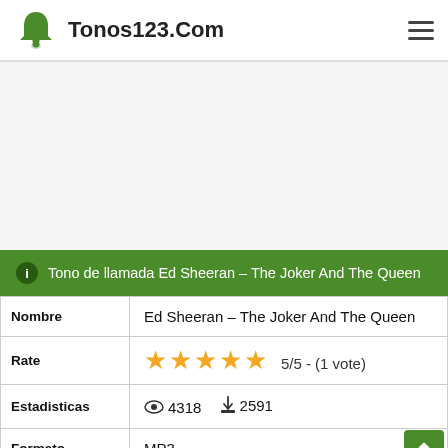Tonos123.Com
[Figure (screenshot): Advertisement area, blank gray space]
ℹ Tono de llamada Ed Sheeran – The Joker And The Queen
| Field | Value |
| --- | --- |
| Nombre | Ed Sheeran – The Joker And The Queen |
| Rate | 5/5 - (1 vote) |
| Estadisticas | 4318 views  2591 downloads |
| Formato | MP3 |